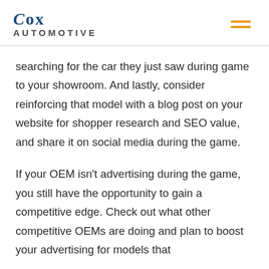[Figure (logo): Cox Automotive logo with stylized text and hamburger menu icon]
searching for the car they just saw during game to your showroom. And lastly, consider reinforcing that model with a blog post on your website for shopper research and SEO value, and share it on social media during the game.
If your OEM isn't advertising during the game, you still have the opportunity to gain a competitive edge. Check out what other competitive OEMs are doing and plan to boost your advertising for models that